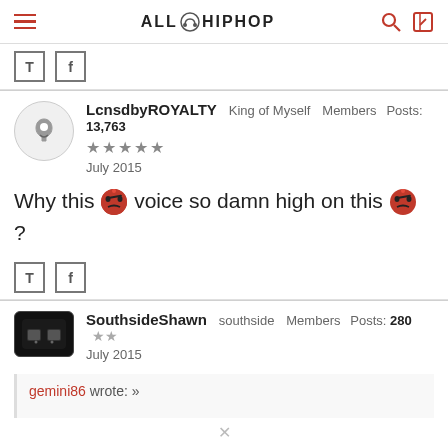AllHipHop
[Figure (screenshot): Twitter and Facebook social share buttons]
LcnsdbyROYALTY  King of Myself  Members  Posts: 13,763  ★★★★★  July 2015
Why this 😡 voice so damn high on this 😡 ?
[Figure (screenshot): Twitter and Facebook social share buttons]
SouthsideShawn  southside  Members  Posts: 280  ★★  July 2015
gemini86 wrote: »